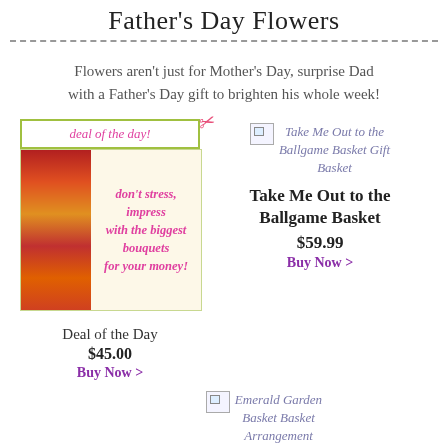Father's Day Flowers
Flowers aren't just for Mother's Day, surprise Dad with a Father's Day gift to brighten his whole week!
[Figure (illustration): Deal of the Day banner with scissors icon and floral arrangement image with text 'don't stress, impress with the biggest bouquets for your money!']
Deal of the Day
$45.00
Buy Now >
[Figure (illustration): Broken image placeholder for Take Me Out to the Ballgame Basket Gift Basket]
Take Me Out to the Ballgame Basket
$59.99
Buy Now >
[Figure (illustration): Broken image placeholder for Emerald Garden Basket Basket Arrangement]